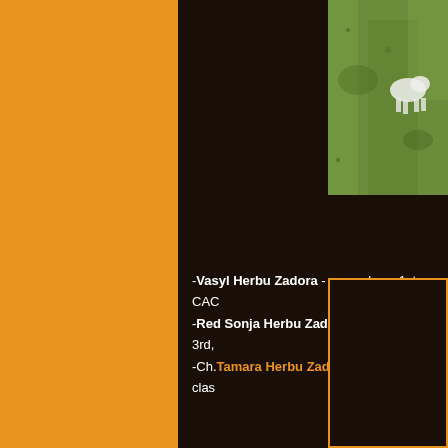[Figure (photo): Partial photo visible in top-right corner showing a dog on grass background]
-Vasyl Herbu Zadora - open class, 1st, CAC
-Red Sonja Herbu Zadora - junior class, 3rd,
-Ch.Tamara Herbu Zadora - intermediate clas
[Figure (photo): Partial photo in bottom-right corner with orange border, mostly dark/obscured]